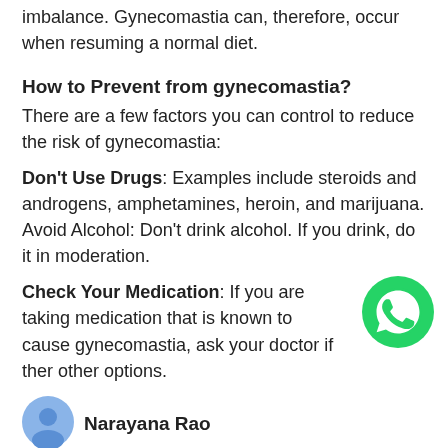imbalance. Gynecomastia can, therefore, occur when resuming a normal diet.
How to Prevent from gynecomastia?
There are a few factors you can control to reduce the risk of gynecomastia:
Don't Use Drugs: Examples include steroids and androgens, amphetamines, heroin, and marijuana. Avoid Alcohol: Don't drink alcohol. If you drink, do it in moderation.
Check Your Medication: If you are taking medication that is known to cause gynecomastia, ask your doctor if there other options.
[Figure (logo): WhatsApp green phone icon]
Narayana Rao
★★★★★ 5 days ago best gynecomastia surgery in janagam Cosmetic surgeon, well experienced Doctor.
Reply Like